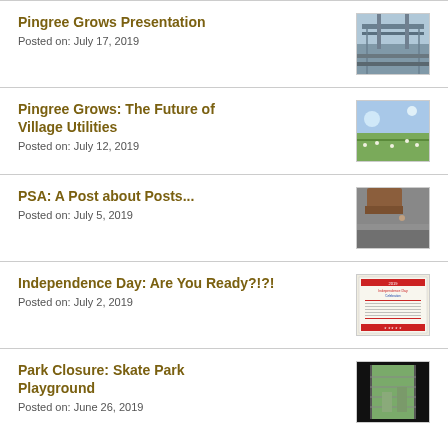Pingree Grows Presentation
Posted on: July 17, 2019
[Figure (photo): Industrial/infrastructure photo, overhead view of what appears to be water treatment or rail yard]
Pingree Grows: The Future of Village Utilities
Posted on: July 12, 2019
[Figure (photo): Green field with wildflowers and sky]
PSA: A Post about Posts...
Posted on: July 5, 2019
[Figure (photo): Close-up of a wooden post on gravel]
Independence Day: Are You Ready?!?!
Posted on: July 2, 2019
[Figure (photo): Independence Day celebration flyer/poster with red and blue text]
Park Closure: Skate Park Playground
Posted on: June 26, 2019
[Figure (photo): Outdoor park area with fence, playground equipment visible]